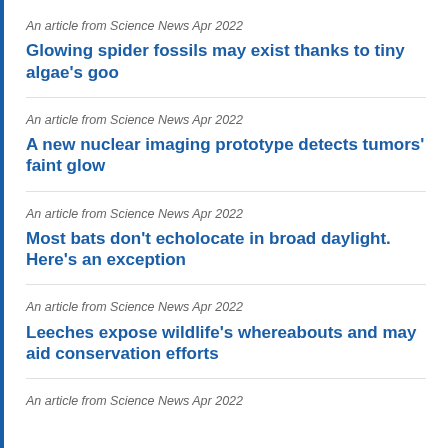An article from Science News Apr 2022
Glowing spider fossils may exist thanks to tiny algae's goo
An article from Science News Apr 2022
A new nuclear imaging prototype detects tumors' faint glow
An article from Science News Apr 2022
Most bats don't echolocate in broad daylight. Here's an exception
An article from Science News Apr 2022
Leeches expose wildlife's whereabouts and may aid conservation efforts
An article from Science News Apr 2022